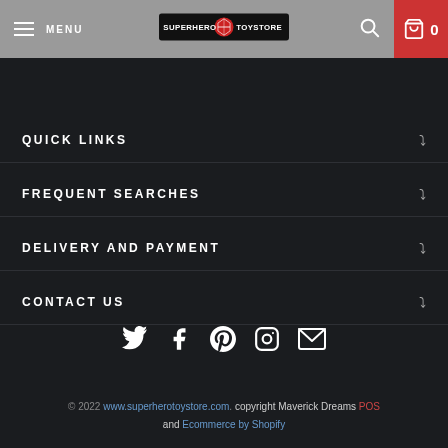MENU | Superhero Toy Store | Search | Cart 0
QUICK LINKS
FREQUENT SEARCHES
DELIVERY AND PAYMENT
CONTACT US
[Figure (infographic): Social media icons row: Twitter, Facebook, Pinterest, Instagram, Email]
© 2022 www.superherotoystore.com. copyright Maverick Dreams POS and Ecommerce by Shopify